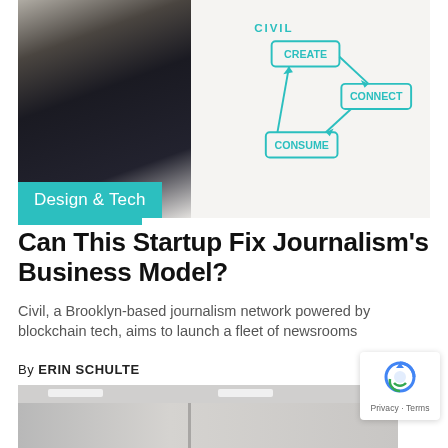[Figure (photo): Man in dark jacket writing on a whiteboard with a green marker; whiteboard shows a flowchart with boxes labeled CREATE, CONNECT, CONSUME with arrows]
Design & Tech
Can This Startup Fix Journalism’s Business Model?
Civil, a Brooklyn-based journalism network powered by blockchain tech, aims to launch a fleet of newsrooms
By ERIN SCHULTE
[Figure (photo): Interior of a modern office or newsroom, ceiling with light fixtures visible]